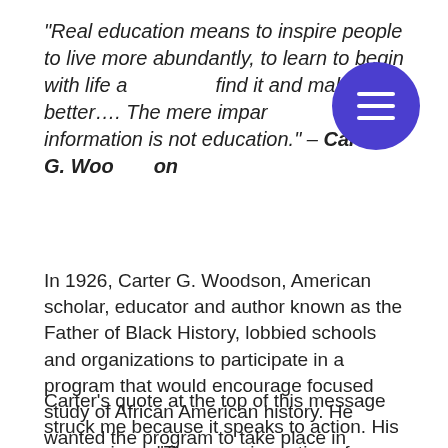“Real education means to inspire people to live more abundantly, to learn to begin with life as find it and make it better…. The mere imparting of information is not education.” – Carter G. Woodson
In 1926, Carter G. Woodson, American scholar, educator and author known as the Father of Black History, lobbied schools and organizations to participate in a program that would encourage focused study of African American history. He wanted the program to take place in February because it is the birth month of abolitionist Frederick Douglass and President Abraham Lincoln. It started as a one-week observance, and was later extended to the entire month.
Carter's quote at the top of this message struck me because it speaks to action. His expression – “The mere imparting of information is not education” – says to me that words are never enough to inspire...